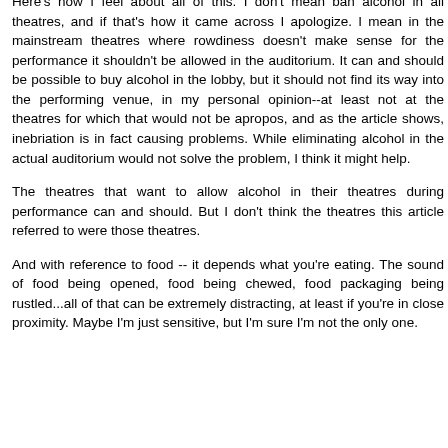Here's how I feel about all of this. I don't mean ban alcohol in all theatres, and if that's how it came across I apologize. I mean in the mainstream theatres where rowdiness doesn't make sense for the performance it shouldn't be allowed in the auditorium. It can and should be possible to buy alcohol in the lobby, but it should not find its way into the performing venue, in my personal opinion--at least not at the theatres for which that would not be apropos, and as the article shows, inebriation is in fact causing problems. While eliminating alcohol in the actual auditorium would not solve the problem, I think it might help.
The theatres that want to allow alcohol in their theatres during performance can and should. But I don't think the theatres this article referred to were those theatres.
And with reference to food -- it depends what you're eating. The sound of food being opened, food being chewed, food packaging being rustled...all of that can be extremely distracting, at least if you're in close proximity. Maybe I'm just sensitive, but I'm sure I'm not the only one.